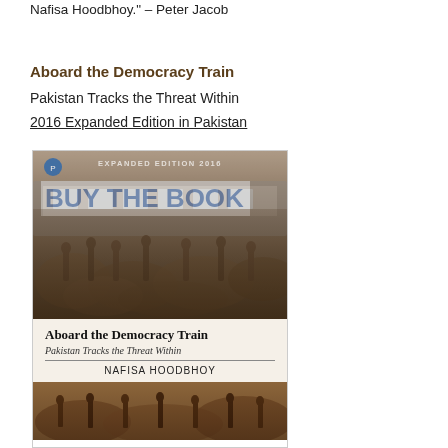Nafisa Hoodbhoy." – Peter Jacob
Aboard the Democracy Train
Pakistan Tracks the Threat Within
2016 Expanded Edition in Pakistan
[Figure (photo): Book cover of 'Aboard the Democracy Train: Pakistan Tracks the Threat Within' by Nafisa Hoodbhoy, 2016 Expanded Edition. Shows a crowd of people around a train, with 'BUY THE BOOK' text overlay on the cover image.]